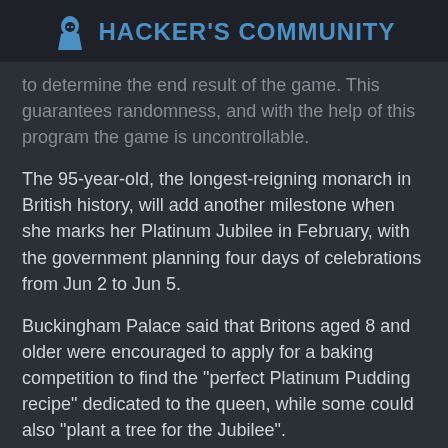Hacker's Community
to determine the end result of the game. This guarantees randomness, and with the help of this program the game is uncontrollable.
The 95-year-old, the longest-reigning monarch in British history, will add another milestone when she marks her Platinum Jubilee in February, with the government planning four days of celebrations from Jun 2 to Jun 5.
Buckingham Palace said that Britons aged 8 and older were encouraged to apply for a baking competition to find the "perfect Platinum Pudding recipe" dedicated to the queen, while some could also "plant a tree for the Jubilee".
During the long holiday weekend in June, people will be able to see the trooping the colour in her birthday